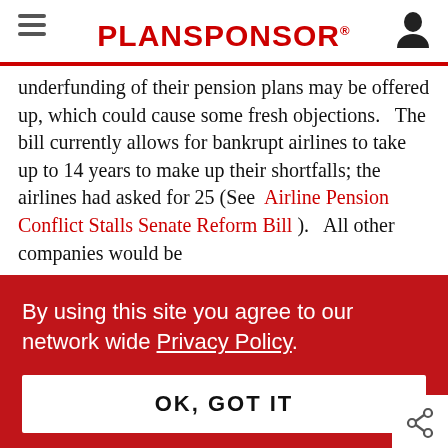PLANSPONSOR
underfunding of their pension plans may be offered up, which could cause some fresh objections.   The bill currently allows for bankrupt airlines to take up to 14 years to make up their shortfalls; the airlines had asked for 25 (See  Airline Pension Conflict Stalls Senate Reform Bill ).   All other companies would be
By using this site you agree to our network wide Privacy Policy.
OK, GOT IT